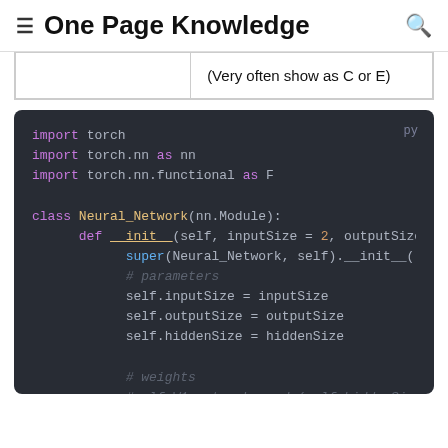≡  One Page Knowledge  🔍
|  | (Very often show as C or E) |
[Figure (screenshot): Python code block showing imports of torch, torch.nn as nn, torch.nn.functional as F, and a class Neural_Network(nn.Module) definition with __init__ method setting inputSize, outputSize, hiddenSize parameters and a weights comment with #self.W1 = torch.randn(self.hiddenSize, self.input...]